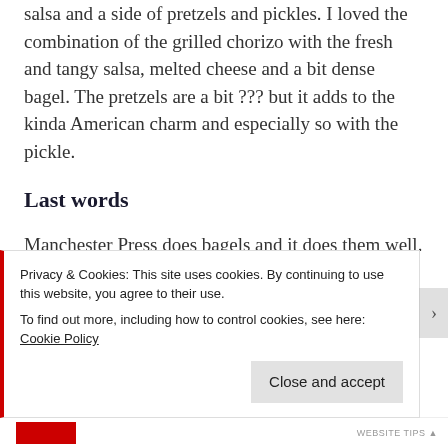salsa and a side of pretzels and pickles. I loved the combination of the grilled chorizo with the fresh and tangy salsa, melted cheese and a bit dense bagel. The pretzels are a bit ??? but it adds to the kinda American charm and especially so with the pickle.
Last words
Manchester Press does bagels and it does them well.
Privacy & Cookies: This site uses cookies. By continuing to use this website, you agree to their use.
To find out more, including how to control cookies, see here: Cookie Policy